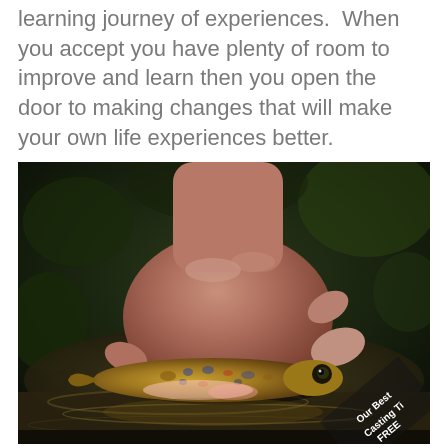learning journey of experiences.  When you accept you have plenty of room to improve and learn then you open the door to making changes that will make your own life experiences better.
[Figure (photo): A hand gently holding a small trout fish at the water's surface, with dark green bokeh background and stream water visible. A watermark in the bottom right reads 'Our Best Casting Ti... FREE']